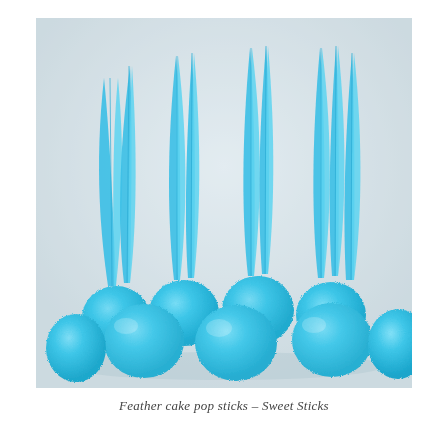[Figure (photo): Several bright blue cake pops decorated with blue glittery sugar coating, each topped with a blue feather. The cake pops are arranged in a group against a light grey/white background. The feathers are tall and elegant, extending upward from each ball-shaped cake pop.]
Feather cake pop sticks – Sweet Sticks